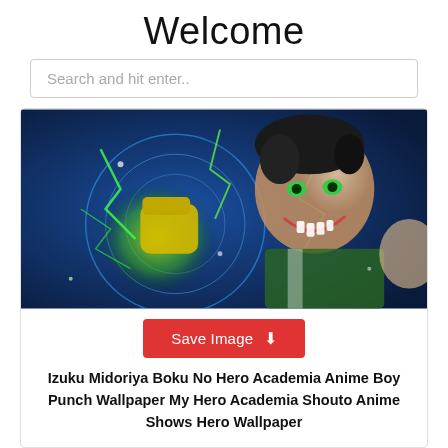Welcome
Search and hit enter..
[Figure (illustration): Anime illustration of Izuku Midoriya from My Hero Academia, punching forward with glowing green energy, blue background with electric effects.]
Save Image ⬇
Izuku Midoriya Boku No Hero Academia Anime Boy Punch Wallpaper My Hero Academia Shouto Anime Shows Hero Wallpaper
[Figure (illustration): Anime illustration with dark teal/blue tones, partially visible at bottom of page.]